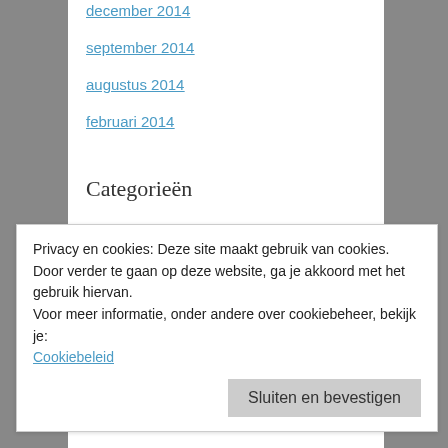december 2014
september 2014
augustus 2014
februari 2014
Categorieën
Uncategorized
Meta
Registreren
Privacy en cookies: Deze site maakt gebruik van cookies. Door verder te gaan op deze website, ga je akkoord met het gebruik hiervan. Voor meer informatie, onder andere over cookiebeheer, bekijk je: Cookiebeleid
Sluiten en bevestigen